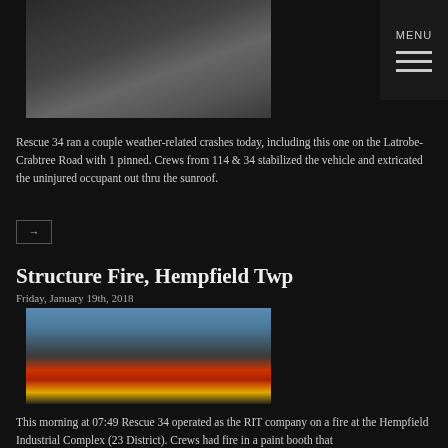[Figure (photo): Top photo showing a vehicle on road, weather-related crash scene]
Rescue 34 ran a couple weather-related crashes today, including this one on the Latrobe-Crabtree Road with 1 pinned. Crews from 114 & 34 stabilized the vehicle and extricated the uninjured occupant out thru the sunroof.
→
Structure Fire, Hempfield Twp
Friday, January 19th, 2018
[Figure (photo): Fire trucks and ladder truck at Hempfield Industrial Complex structure fire scene]
This morning at 07:49 Rescue 34 operated as the RIT company on a fire at the Hempfield Industrial Complex (23 District). Crews had fire in a paint booth that